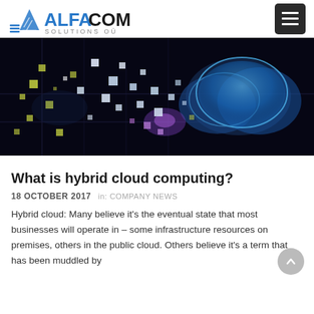ALFACOM SOLUTIONS OÜ
[Figure (photo): Digital cloud computing concept image: a glowing blue cloud shape on a dark circuit board background with colorful floating squares/pixels dispersing from the cloud, purple and yellow highlights.]
What is hybrid cloud computing?
18 OCTOBER 2017   in: COMPANY NEWS
Hybrid cloud: Many believe it's the eventual state that most businesses will operate in – some infrastructure resources on premises, others in the public cloud. Others believe it's a term that has been muddled by